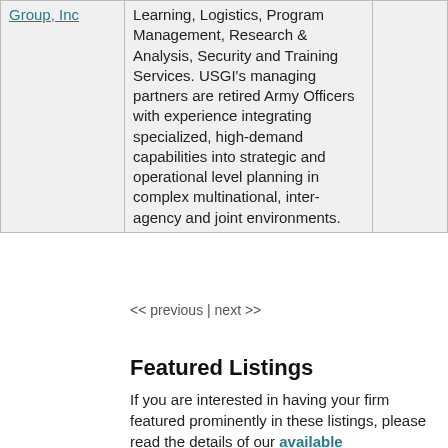| Company | Description |  |
| --- | --- | --- |
| US Global Investors Group, Inc | Learning, Logistics, Program Management, Research & Analysis, Security and Training Services. USGI's managing partners are retired Army Officers with experience integrating specialized, high-demand capabilities into strategic and operational level planning in complex multinational, inter-agency and joint environments. |  |
<< previous | next >>
Featured Listings
If you are interested in having your firm featured prominently in these listings, please read the details of our available